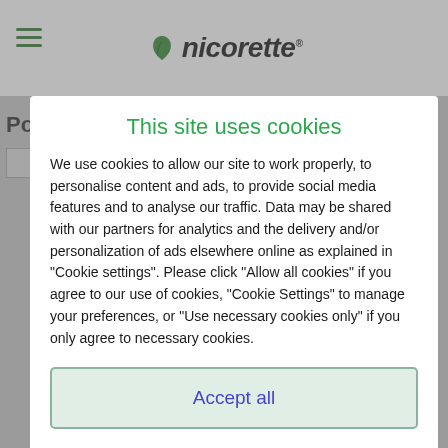[Figure (screenshot): Nicorette website header with hamburger menu icon and Nicorette logo (green leaf and brand name). Background page content partially visible behind modal overlay.]
This site uses cookies
We use cookies to allow our site to work properly, to personalise content and ads, to provide social media features and to analyse our traffic. Data may be shared with our partners for analytics and the delivery and/or personalization of ads elsewhere online as explained in “Cookie settings”. Please click “Allow all cookies” if you agree to our use of cookies, “Cookie Settings” to manage your preferences, or “Use necessary cookies only” if you only agree to necessary cookies.
Accept all
Manage preferences